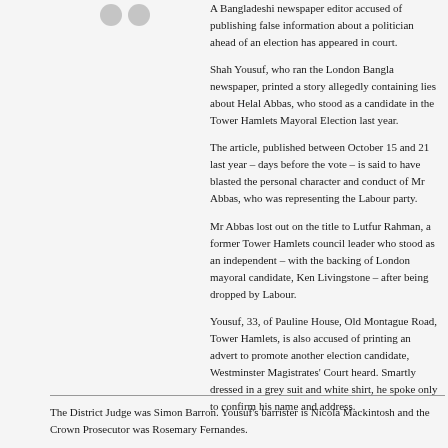[Figure (other): Two grey circular bullet/avatar icons in the top-left area of the content column]
A Bangladeshi newspaper editor accused of publishing false information about a politician ahead of an election has appeared in court.
Shah Yousuf, who ran the London Bangla newspaper, printed a story allegedly containing lies about Helal Abbas, who stood as a candidate in the Tower Hamlets Mayoral Election last year.
The article, published between October 15 and 21 last year – days before the vote – is said to have blasted the personal character and conduct of Mr Abbas, who was representing the Labour party.
Mr Abbas lost out on the title to Lutfur Rahman, a former Tower Hamlets council leader who stood as an independent – with the backing of London mayoral candidate, Ken Livingstone – after being dropped by Labour.
Yousuf, 33, of Pauline House, Old Montague Road, Tower Hamlets, is also accused of printing an advert to promote another election candidate, Westminster Magistrates' Court heard. Smartly dressed in a grey suit and white shirt, he spoke only to confirm his name and address.
The District Judge was Simon Barron. Yousuf's barrister is Nicola Mackintosh and the Crown Prosecutor was Rosemary Fernandes.